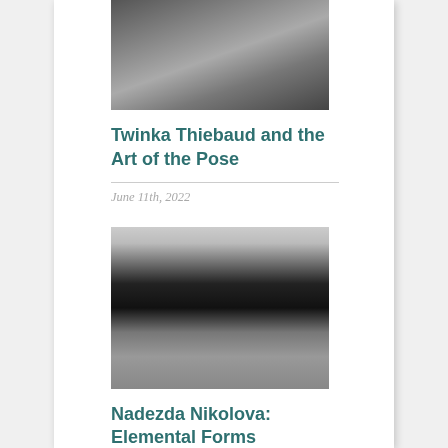[Figure (photo): Black and white photograph of a person holding a child or baby, cropped at top]
Twinka Thiebaud and the Art of the Pose
June 11th, 2022
[Figure (photo): Sepia/dark toned landscape photograph showing sand dunes and a reflective pool or water body]
Nadezda Nikolova: Elemental Forms
May 15th, 2022